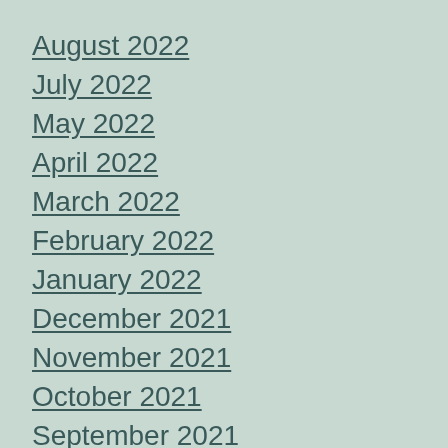August 2022
July 2022
May 2022
April 2022
March 2022
February 2022
January 2022
December 2021
November 2021
October 2021
September 2021
August 2021
July 2021